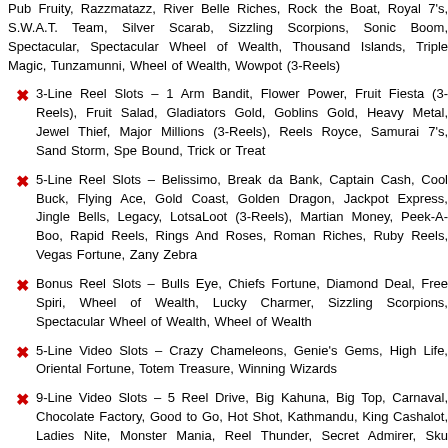Pub Fruity, Razzmatazz, River Belle Riches, Rock the Boat, Royal 7's, S.W.A.T. Team, Silver Scarab, Sizzling Scorpions, Sonic Boom, Spectacular, Spectacular Wheel of Wealth, Thousand Islands, Triple Magic, Tunzamunni, Wheel of Wealth, Wowpot (3-Reels)
3-Line Reel Slots – 1 Arm Bandit, Flower Power, Fruit Fiesta (3-Reels), Fruit Salad, Gladiators Gold, Goblins Gold, Heavy Metal, Jewel Thief, Major Millions (3-Reels), Reels Royce, Samurai 7's, Sand Storm, Spee Bound, Trick or Treat
5-Line Reel Slots – Belissimo, Break da Bank, Captain Cash, Cool Buck, Flying Ace, Gold Coast, Golden Dragon, Jackpot Express, Jingle Bells, Legacy, LotsaLoot (3-Reels), Martian Money, Peek-A-Boo, Rapid Reels, Rings And Roses, Roman Riches, Ruby Reels, Vegas Fortune, Zany Zebra
Bonus Reel Slots – Bulls Eye, Chiefs Fortune, Diamond Deal, Free Spiri, Wheel of Wealth, Lucky Charmer, Sizzling Scorpions, Spectacular Wheel of Wealth, Wheel of Wealth
5-Line Video Slots – Crazy Chameleons, Genie's Gems, High Life, Oriental Fortune, Totem Treasure, Winning Wizards
9-Line Video Slots – 5 Reel Drive, Big Kahuna, Big Top, Carnaval, Chocolate Factory, Good to Go, Hot Shot, Kathmandu, King Cashalot, Ladies Nite, Monster Mania, Reel Thunder, Secret Admirer, Sku Duggery, Spring Break, SunQuest, Tally Ho, Thunderstruck, Thunderstruck, Treasure Nile, Truck Stop, Vinyl Countdown, What a Hoot, What on Earth, Witches Wealth
15-Line Video Slots – Bush Telegraph, CashSplash (5-Reels), Fruit Fiesta (5-Reels), Ho Ho Ho, Jungle Jim, Major Millions (5-Reels), Mermaids Millions, Muchos Grande, Munchkins, Reel Strike, Tomb Raider, Wasabi-San, Wowpot (5-Reels)